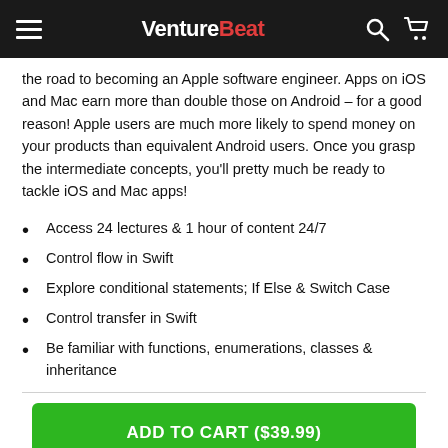VentureBeat
the road to becoming an Apple software engineer. Apps on iOS and Mac earn more than double those on Android – for a good reason! Apple users are much more likely to spend money on your products than equivalent Android users. Once you grasp the intermediate concepts, you'll pretty much be ready to tackle iOS and Mac apps!
Access 24 lectures & 1 hour of content 24/7
Control flow in Swift
Explore conditional statements; If Else & Switch Case
Control transfer in Swift
Be familiar with functions, enumerations, classes & inheritance